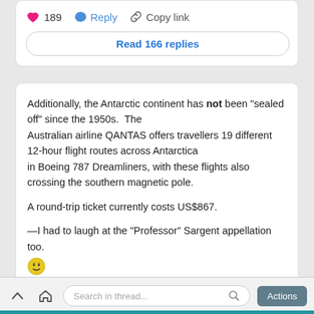[Figure (screenshot): Social media post action bar showing heart/like count (189), Reply button, and Copy link button, followed by a 'Read 166 replies' button]
Additionally, the Antarctic continent has not been "sealed off" since the 1950s.  The Australian airline QANTAS offers travellers 19 different 12-hour flight routes across Antarctica in Boeing 787 Dreamliners, with these flights also crossing the southern magnetic pole.

A round-trip ticket currently costs US$867.

—I had to laugh at the "Professor" Sargent appellation too. 😵
Search in thread... Actions